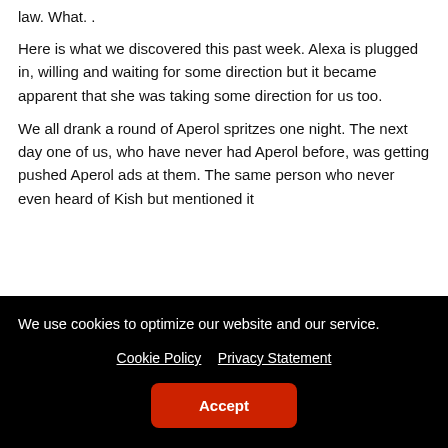law.  What. .
Here is what we discovered this past week.  Alexa is plugged in, willing and waiting for some direction but it became apparent that she was taking some direction for us too.
We all drank a round of Aperol spritzes one night.  The next day one of us, who have never had Aperol before, was getting pushed Aperol ads at them.  The same person who never even heard of Kish but mentioned it
We use cookies to optimize our website and our service.
Cookie Policy   Privacy Statement
Accept